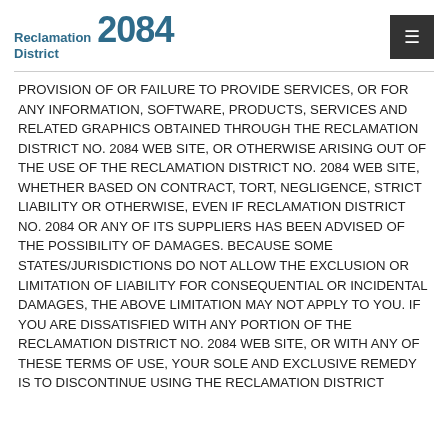Reclamation District 2084
PROVISION OF OR FAILURE TO PROVIDE SERVICES, OR FOR ANY INFORMATION, SOFTWARE, PRODUCTS, SERVICES AND RELATED GRAPHICS OBTAINED THROUGH THE Reclamation District No. 2084 WEB SITE, OR OTHERWISE ARISING OUT OF THE USE OF THE Reclamation District No. 2084 WEB SITE, WHETHER BASED ON CONTRACT, TORT, NEGLIGENCE, STRICT LIABILITY OR OTHERWISE, EVEN IF Reclamation District No. 2084 OR ANY OF ITS SUPPLIERS HAS BEEN ADVISED OF THE POSSIBILITY OF DAMAGES. BECAUSE SOME STATES/JURISDICTIONS DO NOT ALLOW THE EXCLUSION OR LIMITATION OF LIABILITY FOR CONSEQUENTIAL OR INCIDENTAL DAMAGES, THE ABOVE LIMITATION MAY NOT APPLY TO YOU. IF YOU ARE DISSATISFIED WITH ANY PORTION OF THE Reclamation District No. 2084 WEB SITE, OR WITH ANY OF THESE TERMS OF USE, YOUR SOLE AND EXCLUSIVE REMEDY IS TO DISCONTINUE USING THE Reclamation District